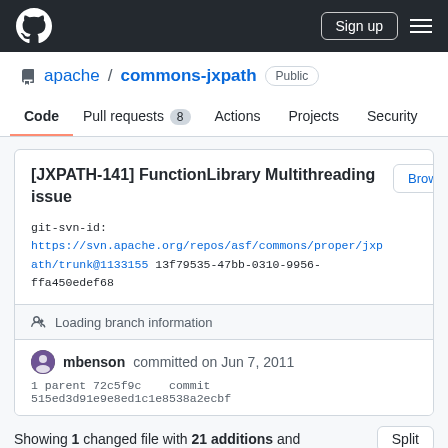GitHub header with Sign up button
apache / commons-jxpath Public
Code  Pull requests 8  Actions  Projects  Security
[JXPATH-141] FunctionLibrary Multithreading issue
git-svn-id: https://svn.apache.org/repos/asf/commons/proper/jxpath/trunk@1133155 13f79535-47bb-0310-9956-ffa450edef68
Loading branch information
mbenson committed on Jun 7, 2011
1 parent 72c5f9c   commit 515ed3d91e9e8ed1c1e8538a2ecbf
Showing 1 changed file with 21 additions and...   Split